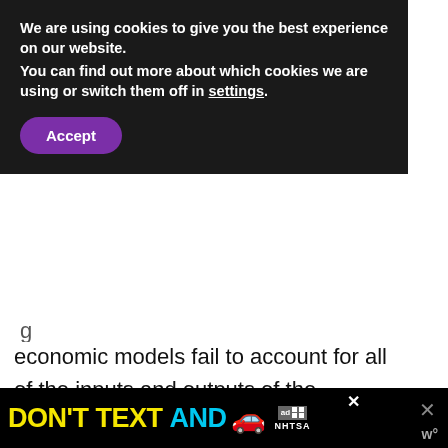We are using cookies to give you the best experience on our website.
You can find out more about which cookies we are using or switch them off in settings.
Accept
economic models fail to account for all of the inputs and outputs of the economy. Additionally, today's models rely on fundamentally flawed and limited definitions of humans within the economy. These fatal flaws result in significa. errors in economic-driven decisions i humanity and our planet dearly.
[Figure (screenshot): Advertisement banner: DON'T TEXT AND [car emoji] with ad and NHTSA logos]
[Figure (infographic): Social sharing panel with heart icon (17 likes) and share button, plus What's Next widget showing environmental article thumbnail]